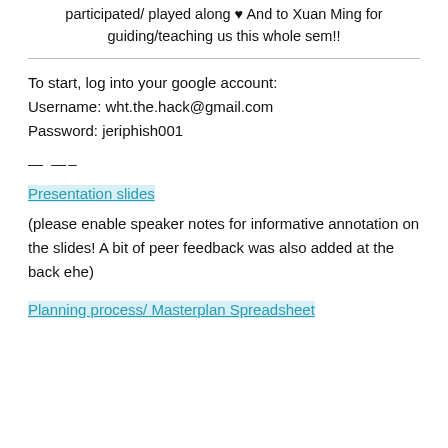participated/ played along ♥ And to Xuan Ming for guiding/teaching us this whole sem!!
To start, log into your google account:
Username: wht.the.hack@gmail.com
Password: jeriphish001
— —–
Presentation slides
(please enable speaker notes for informative annotation on the slides! A bit of peer feedback was also added at the back ehe)
Planning process/ Masterplan Spreadsheet